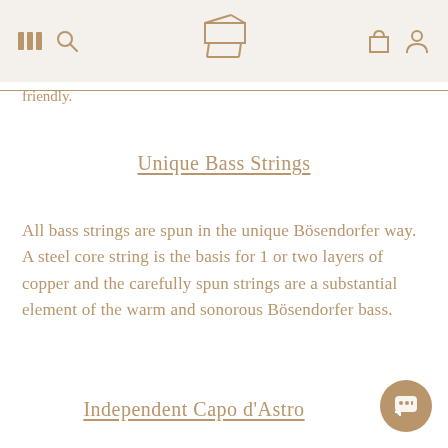[navigation bar with menu, piano logo, bag and user icons]
…friendly.
Unique Bass Strings
All bass strings are spun in the unique Bösendorfer way. A steel core string is the basis for 1 or two layers of copper and the carefully spun strings are a substantial element of the warm and sonorous Bösendorfer bass.
Independent Capo d'Astro